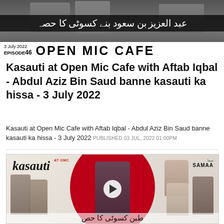[Figure (screenshot): Thumbnail image for Open Mic Cafe Episode 46 dated 3 July 2022, showing Urdu text 'Abdul Aziz bin Saud banne kasauti ka hissa' over a dark background, with episode label and 'OPEN MIC CAFE' branding in bold black text on white bar.]
Kasauti at Open Mic Cafe with Aftab Iqbal - Abdul Aziz Bin Saud banne kasauti ka hissa - 3 July 2022
Kasauti at Open Mic Cafe with Aftab Iqbal - Abdul Aziz Bin Saud banne kasauti ka hissa - 3 July 2022 PUBLISHED 03 JUL, 2022 01:00PM
[Figure (screenshot): Video thumbnail for Kasauti at Open Mic Cafe showing the 'kasauti' logo with 'at omc' badge, group of cast members including a central older male in suit, female celebrities, and male cast on sides, with a large red circle in background, SAMAA TV logo top right, play button in center, and partial Urdu text at bottom.]